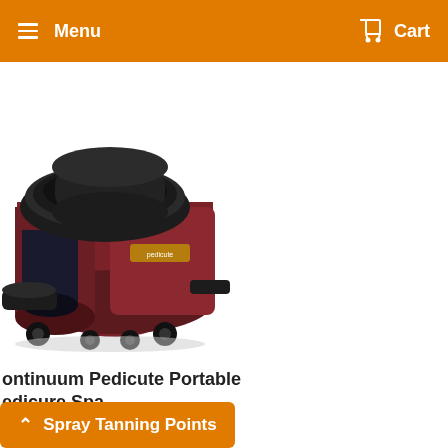Menu   Cart
[Figure (photo): Continuum Pedicute Portable Pedicure Spa product photo — a compact portable pedicure basin unit in dark red/maroon with black trim and rolling casters]
Continuum Pedicute Portable Pedicure Spa
$676.00
★★★★★ 5 reviews
Spray Tanning Points